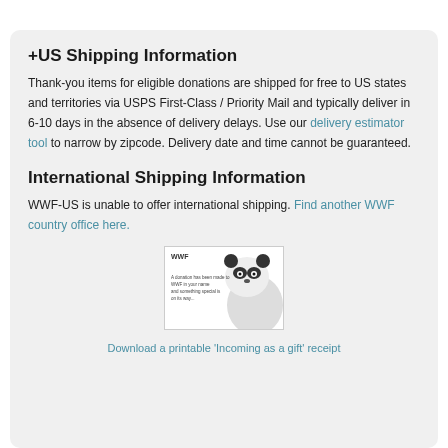+US Shipping Information
Thank-you items for eligible donations are shipped for free to US states and territories via USPS First-Class / Priority Mail and typically deliver in 6-10 days in the absence of delivery delays. Use our delivery estimator tool to narrow by zipcode. Delivery date and time cannot be guaranteed.
International Shipping Information
WWF-US is unable to offer international shipping. Find another WWF country office here.
[Figure (photo): WWF donation card with panda image and text 'A donation has been made to WWF in your name and something special is on its way...']
Download a printable 'Incoming as a gift' receipt